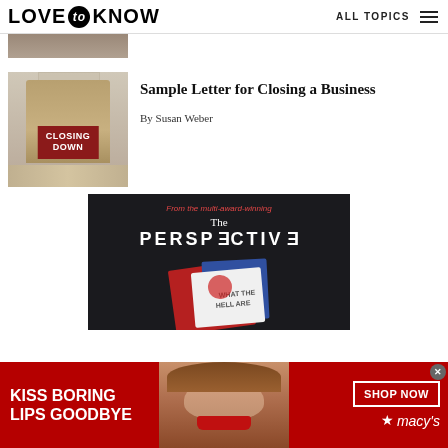LOVE to KNOW   ALL TOPICS
[Figure (photo): Cropped top portion of a photo, partially visible]
[Figure (photo): Person holding a red 'CLOSING DOWN' sign in front of a building]
Sample Letter for Closing a Business
By Susan Weber
[Figure (advertisement): Dark background ad: 'From the multi-award-winning The PERSPECTIVE' with book image showing 'WHAT THE HELL ARE']
[Figure (advertisement): Macy's red banner ad: 'KISS BORING LIPS GOODBYE' with woman's face and 'SHOP NOW' button with Macy's star logo]